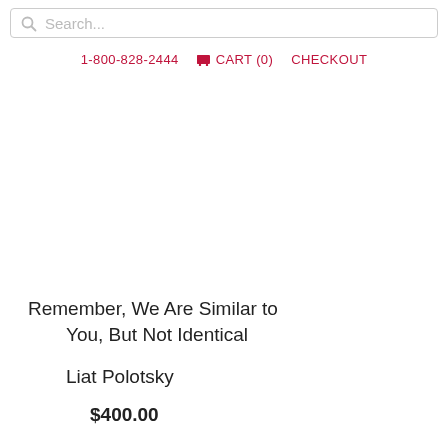Search...  1-800-828-2444  CART (0)  CHECKOUT
Remember, We Are Similar to You, But Not Identical
Liat Polotsky
$400.00